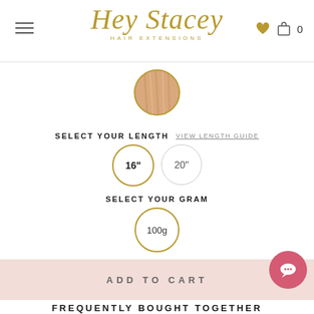Hey Stacey HAIR EXTENSIONS
[Figure (photo): Circular hair swatch showing blonde/warm tone hair color sample]
SELECT YOUR LENGTH   VIEW LENGTH GUIDE
[Figure (other): Two circular length option buttons: 16" (gold border, selected) and 20" (light border)]
SELECT YOUR GRAM
[Figure (other): Circular gram option button: 100g with gold border]
ADD TO CART
FREQUENTLY BOUGHT TOGETHER